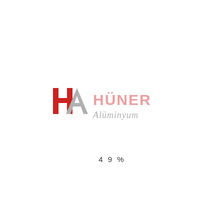[Figure (logo): Hüner Alüminyum company logo with stylized HA monogram in red and grey, and the company name in pink/light red and italic grey script]
49%